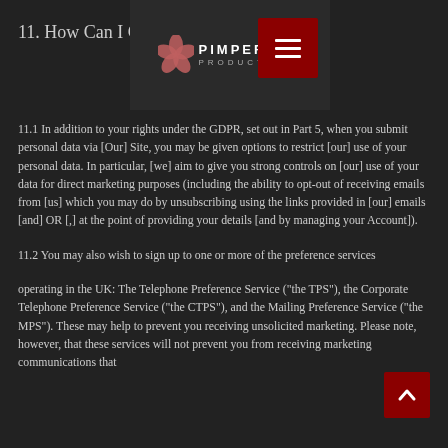11. How Can I C...
[Figure (logo): Pimpernel Productions logo with flower/petal icon and navigation menu button (hamburger icon on dark red background)]
11.1 In addition to your rights under the GDPR, set out in Part 5, when you submit personal data via [Our] Site, you may be given options to restrict [our] use of your personal data. In particular, [we] aim to give you strong controls on [our] use of your data for direct marketing purposes (including the ability to opt-out of receiving emails from [us] which you may do by unsubscribing using the links provided in [our] emails [and] OR [,] at the point of providing your details [and by managing your Account]).
11.2 You may also wish to sign up to one or more of the preference services
operating in the UK: The Telephone Preference Service ("the TPS"), the Corporate Telephone Preference Service ("the CTPS"), and the Mailing Preference Service ("the MPS"). These may help to prevent you receiving unsolicited marketing. Please note, however, that these services will not prevent you from receiving marketing communications that